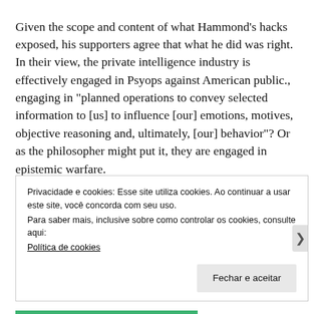Given the scope and content of what Hammond's hacks exposed, his supporters agree that what he did was right. In their view, the private intelligence industry is effectively engaged in Psyops against American public., engaging in "planned operations to convey selected information to [us] to influence [our] emotions, motives, objective reasoning and, ultimately, [our] behavior"? Or as the philosopher might put it, they are engaged in epistemic warfare.
The Greek word deployed by Plato in “The Cave” — aletheia — is typically translated as truth, but is more aptly
Privacidade e cookies: Esse site utiliza cookies. Ao continuar a usar este site, você concorda com seu uso.
Para saber mais, inclusive sobre como controlar os cookies, consulte aqui:
Política de cookies
Fechar e aceitar